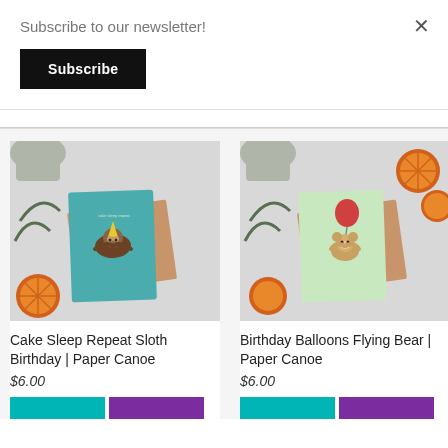Subscribe to our newsletter!
Subscribe
×
[Figure (photo): Product photo of Cake Sleep Repeat Sloth Birthday card by Paper Canoe — teal greeting card with illustrated sloth wearing party hat on kraft envelope, surrounded by dried orange slices and plant leaves on white surface]
Cake Sleep Repeat Sloth Birthday | Paper Canoe
$6.00
[Figure (photo): Product photo of Birthday Balloons Flying Bear card by Paper Canoe — mint green greeting card with illustrated bear holding red balloon on kraft envelope, surrounded by dried orange slices and plant leaves on white surface]
Birthday Balloons Flying Bear | Paper Canoe
$6.00